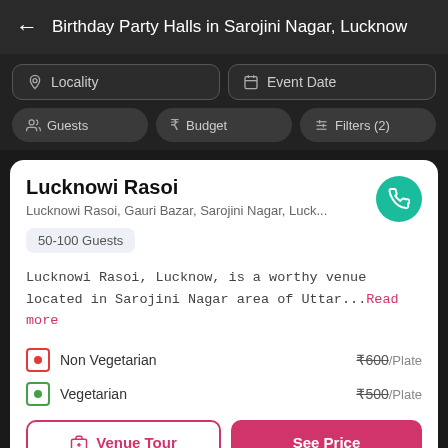Birthday Party Halls in Sarojini Nagar, Lucknow
Locality
Event Date
Guests
Budget
Filters (2)
Lucknowi Rasoi
Lucknowi Rasoi, Gauri Bazar, Sarojini Nagar, Luck...
50-100 Guests
Lucknowi Rasoi, Lucknow, is a worthy venue located in Sarojini Nagar area of Uttar...Read more
Non Vegetarian  ₹600/Plate
Vegetarian  ₹500/Plate
Venue Tour
See Price